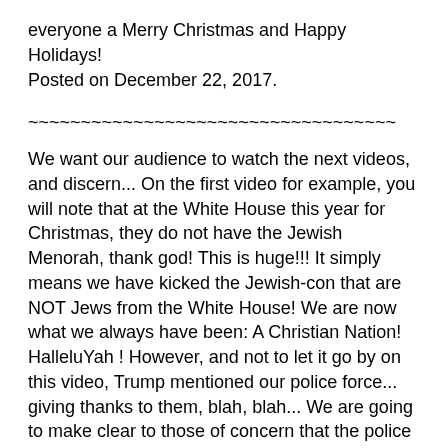everyone a Merry Christmas and Happy Holidays! Posted on December 22, 2017.
~~~~~~~~~~~~~~~~~~~~~~~~~~~~~~~~~~~
We want our audience to watch the next videos, and discern... On the first video for example, you will note that at the White House this year for Christmas, they do not have the Jewish Menorah, thank god! This is huge!!! It simply means we have kicked the Jewish-con that are NOT Jews from the White House! We are now what we always have been: A Christian Nation! HalleluYah ! However, and not to let it go by on this video, Trump mentioned our police force... giving thanks to them, blah, blah... We are going to make clear to those of concern that the police force is obsolete, and we the American people are very much aware who they are, = A mob that all along has been working with: for the top criminals within this country. We have no respect whatsoever for the police force: We want them out from the streets of our country. Our people